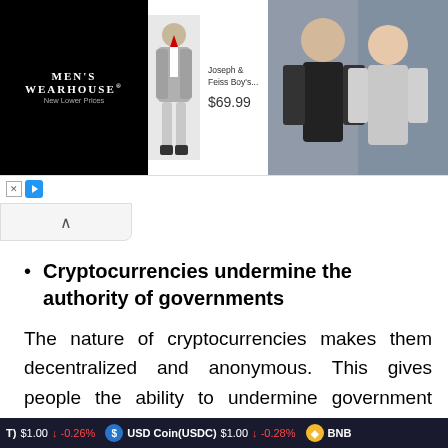[Figure (screenshot): Men's Wearhouse advertisement banner showing a boy in a suit, Joseph & Feiss Boy's item for $69.99, and a couple in formal wear]
Cryptocurrencies undermine the authority of governments
The nature of cryptocurrencies makes them decentralized and anonymous. This gives people the ability to undermine government authority by bypassing capital controls imposed by the government. This is another reason why the government may fear or completely dislike cryptocurrencies, as they have little or no control over
T) $1.00 ↓ -0.26%   USD Coin(USDC) $1.00 ↓ -0.28%   BNB